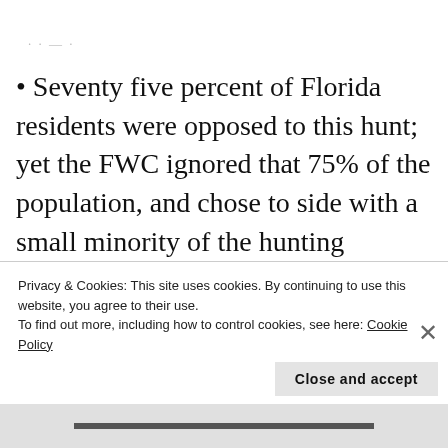· · — ·
• Seventy five percent of Florida residents were opposed to this hunt; yet the FWC ignored that 75% of the population, and chose to side with a small minority of the hunting community.
• The FWC choose to move ahead with this hunt before final bear counts were even completed. The completion
Privacy & Cookies: This site uses cookies. By continuing to use this website, you agree to their use.
To find out more, including how to control cookies, see here: Cookie Policy
Close and accept